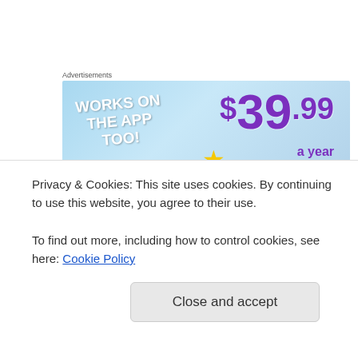Advertisements
[Figure (other): Advertisement banner: 'WORKS ON THE APP TOO!' with pricing $39.99 a year or $4.99]
Nearly every day, I've dedicated some time working on 50 Couches in 50 Nights. Doing a variety tasks to keep moving the project forward and complete the book. has proved to be much more time consuming than I had
Privacy & Cookies: This site uses cookies. By continuing to use this website, you agree to their use.
To find out more, including how to control cookies, see here: Cookie Policy
Close and accept
have seen on here or Facebook or flickr are much more